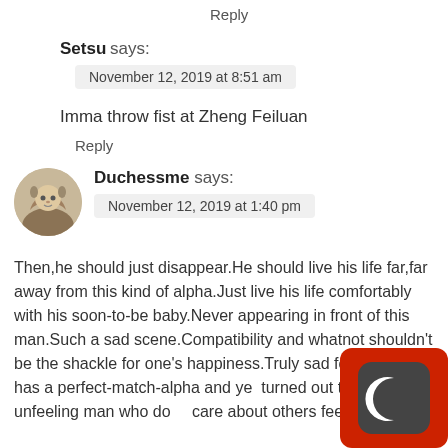Reply
Setsu says:
November 12, 2019 at 8:51 am
Imma throw fist at Zheng Feiluan
Reply
Duchessme says:
November 12, 2019 at 1:40 pm
Then,he should just disappear.He should live his life far,far away from this kind of alpha.Just live his life comfortably with his soon-to-be baby.Never appearing in front of this man.Such a sad scene.Compatibility and whatnot shouldn't be the shackle for one's happiness.Truly sad for him.He has a perfect-match-alpha and yet turned out to be an unfeeling man who do care about others feelings.
[Figure (illustration): Dark mode toggle icon — moon symbol on dark gray circle background, overlaid on red square, bottom right corner]